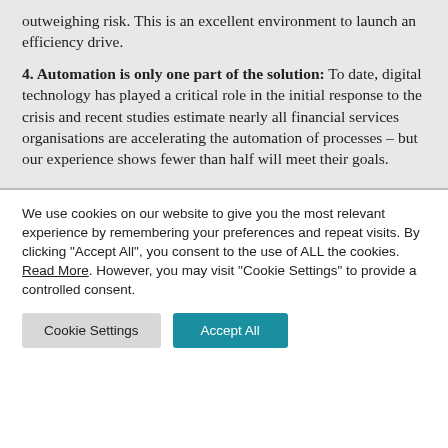outweighing risk. This is an excellent environment to launch an efficiency drive.
4. Automation is only one part of the solution: To date, digital technology has played a critical role in the initial response to the crisis and recent studies estimate nearly all financial services organisations are accelerating the automation of processes – but our experience shows fewer than half will meet their goals.
We use cookies on our website to give you the most relevant experience by remembering your preferences and repeat visits. By clicking "Accept All", you consent to the use of ALL the cookies. Read More. However, you may visit "Cookie Settings" to provide a controlled consent.